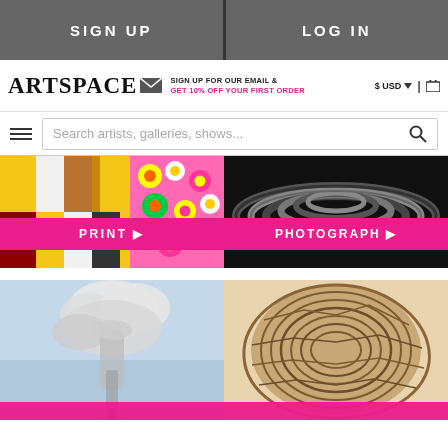SIGN UP | LOG IN
[Figure (screenshot): Artspace website header with logo, email sign-up promo, USD currency selector, cart icon, search bar with hamburger menu]
[Figure (photo): Colorful print artwork with pop art flowers (Murakami style) and color test bars, with pink PRINT button]
[Figure (photo): Black and white photograph of stacked rings/necklaces, with pink PHOTOGRAPH button]
[Figure (photo): Watercolor painting of a mushroom cloud/smoke column against blue-gray sky]
[Figure (photo): Wood grain layered sculptural artwork with concentric patterns]